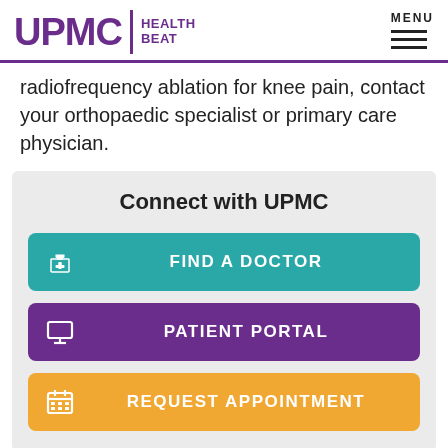UPMC | HEALTH BEAT
radiofrequency ablation for knee pain, contact your orthopaedic specialist or primary care physician.
Connect with UPMC
FIND A DOCTOR
PATIENT PORTAL
REQUEST APPOINTMENT